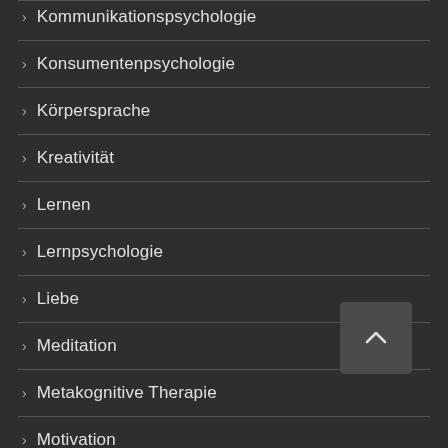Kommunikationspsychologie
Konsumentenpsychologie
Körpersprache
Kreativität
Lernen
Lernpsychologie
Liebe
Meditation
Metakognitive Therapie
Motivation
Muzik